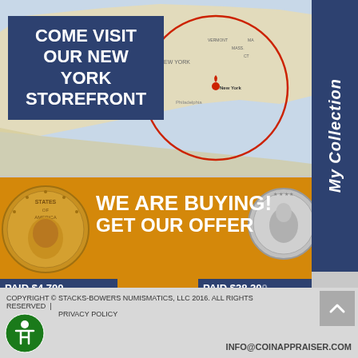[Figure (map): Map of eastern United States with a red circle centered around New York area, showing a location pin on New York]
COME VISIT OUR NEW YORK STOREFRONT
My Collection
[Figure (illustration): Gold coin on the left and silver coin on the right on an orange buying banner]
WE ARE BUYING! GET OUR OFFER
PAID $4,700
PAID $28,200
About Us  |  Contact US  |  How to Sell Your Coins  How to Auction Your Coins  |  How to Have Your Coins Graded  |  Locate an Expert
COPYRIGHT © STACKS-BOWERS NUMISMATICS, LLC 2016. ALL RIGHTS RESERVED  |  PRIVACY POLICY
INFO@COINAPPRAISER.COM